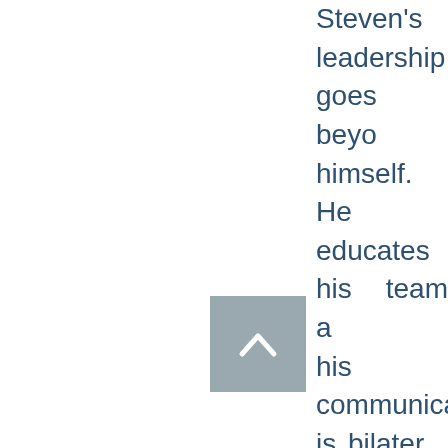Steven's leadership goes beyond himself. He educates his team and his communication is bilateral and effective. He is encouraging and allows room for criticism. One of the fundamental lessons acquired through executive management is the importance of delegation and discretion. Steven wants to ensure that Maxwell Capital thrives, not only internally but the success of the companies we partner with is paramount. In order for this vision to matriculate, we must be able to efficiently and effectively assign or allocate tasks in a manner that maximizes success. Understanding how to navigate through an individual's strengths and weaknesses can save a
[Figure (other): A grey square button with a white upward-pointing chevron/caret arrow, used as a back-to-top or navigation button]